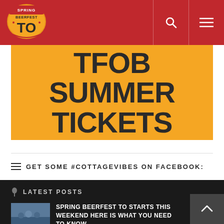Spring Beerfest TO — Navigation header with logo, search, and menu icons
TFOB SUMMER TICKETS
GET SOME #COTTAGEVIBES ON FACEBOOK:
LATEST POSTS
SPRING BEERFEST TO STARTS THIS WEEKEND HERE IS WHAT YOU NEED TO KNOW…